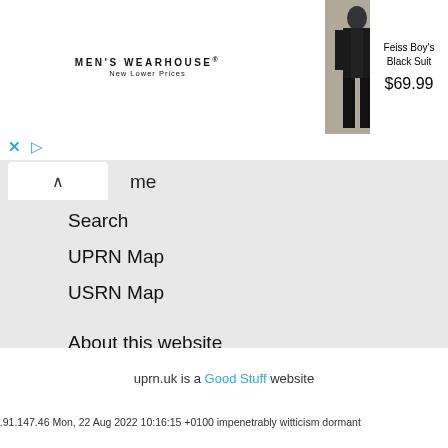[Figure (screenshot): Men's Wearhouse advertisement banner showing a black suit (Feiss Boy's Black Suit) priced at $69.99, with a man in a suit on the left and a couple on the right]
me
Search
UPRN Map
USRN Map
About this website
Data Sources
Limitations of the Data
Privacy Policy
uprn.uk is a Good Stuff website
3.91.147.46 Mon, 22 Aug 2022 10:16:15 +0100 impenetrably witticism dormant